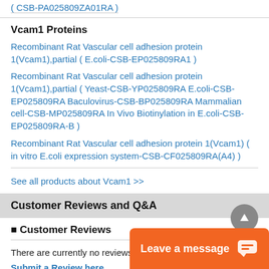( CSB-PA025809ZA01RA )
Vcam1 Proteins
Recombinant Rat Vascular cell adhesion protein 1(Vcam1),partial ( E.coli-CSB-EP025809RA1 )
Recombinant Rat Vascular cell adhesion protein 1(Vcam1),partial ( Yeast-CSB-YP025809RA E.coli-CSB-EP025809RA Baculovirus-CSB-BP025809RA Mammalian cell-CSB-MP025809RA In Vivo Biotinylation in E.coli-CSB-EP025809RA-B )
Recombinant Rat Vascular cell adhesion protein 1(Vcam1) ( in vitro E.coli expression system-CSB-CF025809RA(A4) )
See all products about Vcam1 >>
Customer Reviews and Q&A
■ Customer Reviews
There are currently no reviews for this product.
Submit a Review here